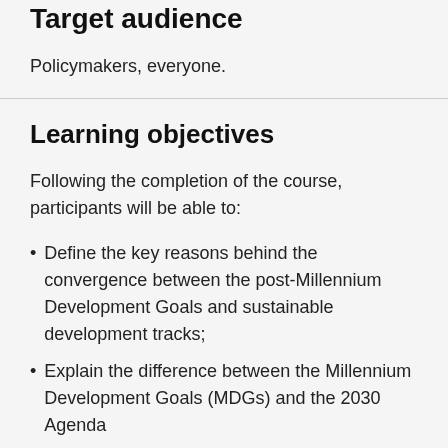Target audience
Policymakers, everyone.
Learning objectives
Following the completion of the course, participants will be able to:
Define the key reasons behind the convergence between the post-Millennium Development Goals and sustainable development tracks;
Explain the difference between the Millennium Development Goals (MDGs) and the 2030 Agenda